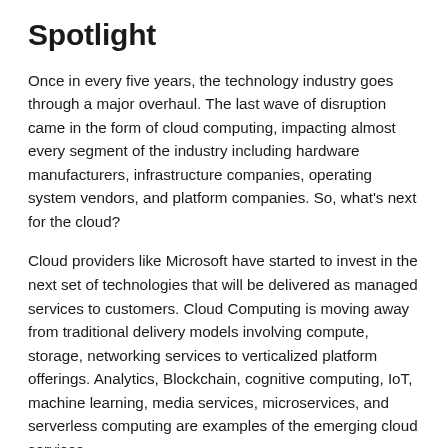Spotlight
Once in every five years, the technology industry goes through a major overhaul. The last wave of disruption came in the form of cloud computing, impacting almost every segment of the industry including hardware manufacturers, infrastructure companies, operating system vendors, and platform companies. So, what’s next for the cloud?
Cloud providers like Microsoft have started to invest in the next set of technologies that will be delivered as managed services to customers. Cloud Computing is moving away from traditional delivery models involving compute, storage, networking services to verticalized platform offerings. Analytics, Blockchain, cognitive computing, IoT, machine learning, media services, microservices, and serverless computing are examples of the emerging cloud services.